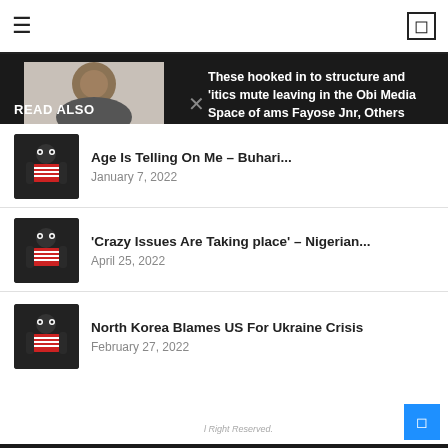≡  [nav icon]
[Figure (screenshot): Dark overlay panel showing news website with READ ALSO section. Left white panel with article list: 'Age Is Telling On Me – Buhari...' January 7, 2022; ''Crazy Issues Are Taking place' – Nigerian...' April 25, 2022; 'North Korea Blames US For Ukraine Crisis' February 27, 2022. Right dark panel showing partial article titles about Obi Media Space and delusional voters.]
READ ALSO
These hooked in to structure and 'itics mute leaving in the Obi Media Space of ams Fayose Jnr, Others
22
aham is delusional to voters will grow drained They relish his crimes
22
Age Is Telling On Me – Buhari... January 7, 2022
'Crazy Issues Are Taking place' – Nigerian... April 25, 2022
North Korea Blames US For Ukraine Crisis February 27, 2022
l Right Reserved.